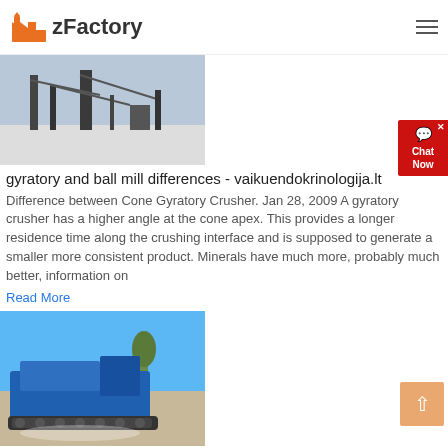zFactory
[Figure (photo): Aerial/industrial view of mining or construction equipment and infrastructure in a snowy or dusty outdoor setting]
gyratory and ball mill differences - vaikuendokrinologija.lt
Difference between Cone Gyratory Crusher. Jan 28, 2009 A gyratory crusher has a higher angle at the cone apex. This provides a longer residence time along the crushing interface and is supposed to generate a smaller more consistent product. Minerals have much more, probably much better, information on
Read More
[Figure (photo): Blue mobile crusher/jaw crusher machine on tracks in an outdoor quarry or construction site setting]
Difference Between Crusher And Mill
Difference between blake jaw crusher and ball mill. The difference